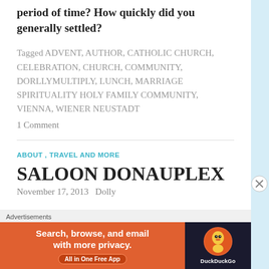period of time? How quickly did you generally settled?
Tagged ADVENT, AUTHOR, CATHOLIC CHURCH, CELEBRATION, CHURCH, COMMUNITY, DORLLYMULTIPLY, LUNCH, MARRIAGE SPIRITUALITY HOLY FAMILY COMMUNITY, VIENNA, WIENER NEUSTADT
1 Comment
ABOUT , TRAVEL AND MORE
SALOON DONAUPLEX
November 17, 2013   Dolly
Advertisements
[Figure (other): DuckDuckGo advertisement banner: orange background with text 'Search, browse, and email with more privacy. All in One Free App' and DuckDuckGo logo on dark right panel]